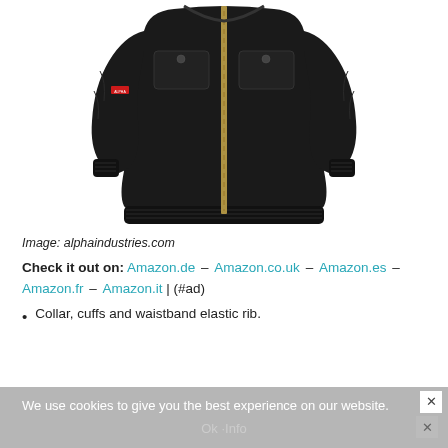[Figure (photo): Black bomber jacket (MA-1 style) with gold zipper, ribbed cuffs and waistband, chest pockets with snaps, and a red Alpha Industries patch on the left sleeve. Shown from front on white background.]
Image: alphaindustries.com
Check it out on: Amazon.de – Amazon.co.uk – Amazon.es – Amazon.fr – Amazon.it | (#ad)
Collar, cuffs and waistband elastic rib.
We use cookies to give you the best experience on our website. Ok · Info